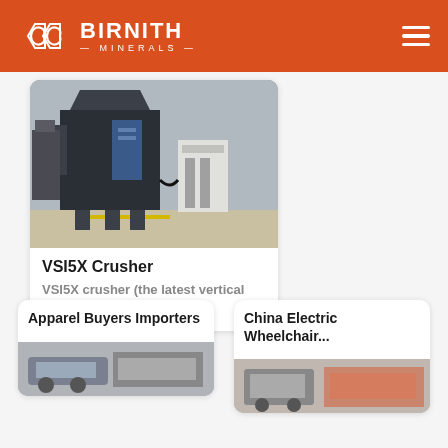BIRNITH MINERALS
[Figure (photo): VSI5X Crusher industrial machinery in a factory]
VSI5X Crusher
VSI5X crusher (the latest vertical shaft...
Apparel Buyers Importers
[Figure (photo): Apparel buyers importers product image]
China Electric Wheelchair...
[Figure (photo): China Electric Wheelchair product image]